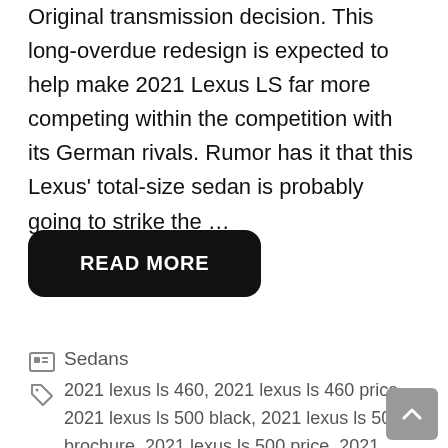Original transmission decision. This long-overdue redesign is expected to help make 2021 Lexus LS far more competing within the competition with its German rivals. Rumor has it that this Lexus' total-size sedan is probably going to strike the …
READ MORE
Sedans
2021 lexus ls 460, 2021 lexus ls 460 price, 2021 lexus ls 500 black, 2021 lexus ls 500 brochure, 2021 lexus ls 500 price, 2021 lexus ls 500 review, 2021 lexus ls 500 vs audi a8, 2021 lexus ls 500 vs …